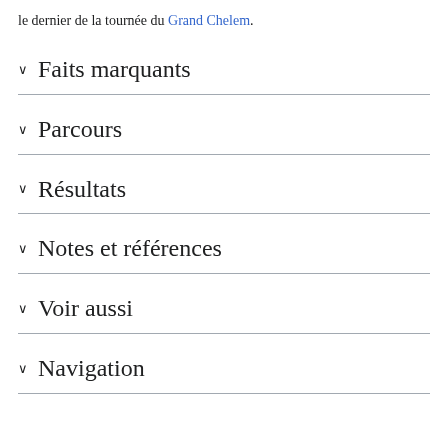le dernier de la tournée du Grand Chelem.
Faits marquants
Parcours
Résultats
Notes et références
Voir aussi
Navigation